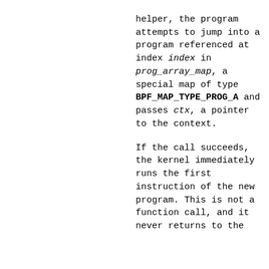helper, the program attempts to jump into a program referenced at index index in prog_array_map, a special map of type BPF_MAP_TYPE_PROG_A and passes ctx, a pointer to the context.
If the call succeeds, the kernel immediately runs the first instruction of the new program. This is not a function call, and it never returns to the